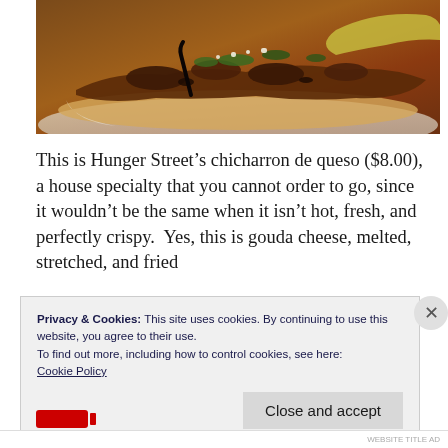[Figure (photo): Close-up photo of a chicharron de queso taco with melted/fried cheese, meat, cilantro, onion on a tortilla on a white plate]
This is Hunger Street's chicharron de queso ($8.00), a house specialty that you cannot order to go, since it wouldn't be the same when it isn't hot, fresh, and perfectly crispy.  Yes, this is gouda cheese, melted, stretched, and fried
Privacy & Cookies: This site uses cookies. By continuing to use this website, you agree to their use.
To find out more, including how to control cookies, see here:
Cookie Policy

Close and accept